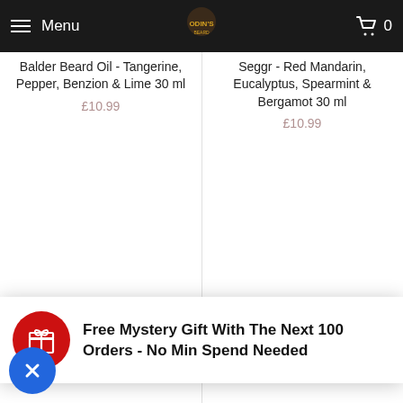Menu | [Logo] | Cart 0
Balder Beard Oil - Tangerine, Pepper, Benzion & Lime 30 ml
£10.99
Seggr - Red Mandarin, Eucalyptus, Spearmint & Bergamot 30 ml
£10.99
Freya - Exotic fruit
cinnamon 30ml
£10.99
Pepper 30ml
£10.99
Free Mystery Gift With The Next 100 Orders - No Min Spend Needed